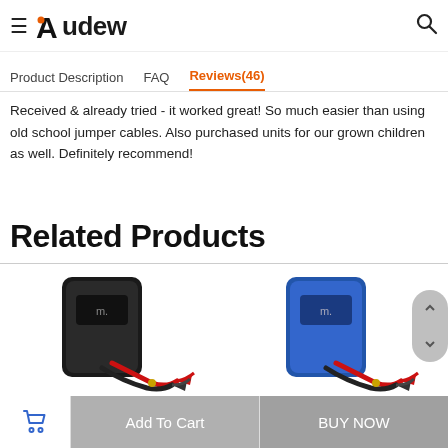Audew
Product Description   FAQ   Reviews(46)
Received & already tried - it worked great! So much easier than using old school jumper cables. Also purchased units for our grown children as well. Definitely recommend!
Related Products
[Figure (photo): Black car jump starter device with red and black clamp cables]
[Figure (photo): Blue car jump starter device with red and black clamp cables]